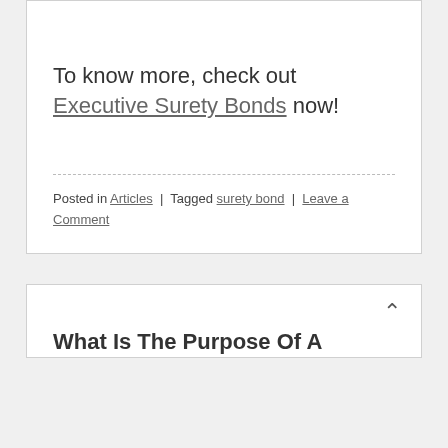To know more, check out Executive Surety Bonds now!
Posted in Articles | Tagged surety bond | Leave a Comment
What Is The Purpose Of A